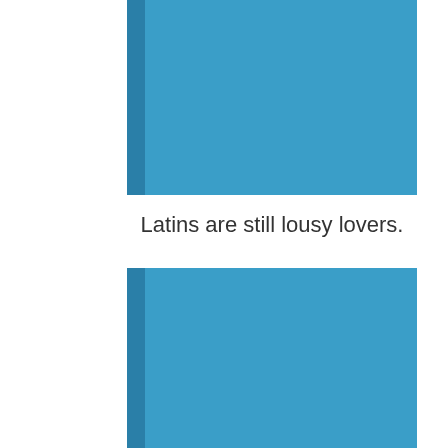[Figure (illustration): Top view of a book with blue cover and darker blue spine on the left side]
Latins are still lousy lovers.
[Figure (illustration): Bottom view of a book with blue cover and darker blue spine on the left side]